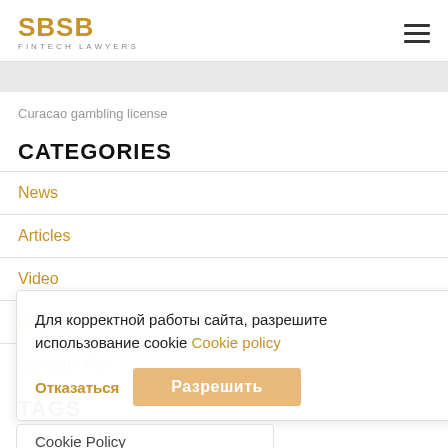SBSB FINTECH LAWYERS
Curacao gambling license
CATEGORIES
News
Articles
Video
Blog
Special Offer
TAGS
Для корректной работы сайта, разрешите использование cookie Cookie policy
Отказаться  Разрешить
Cookie Policy